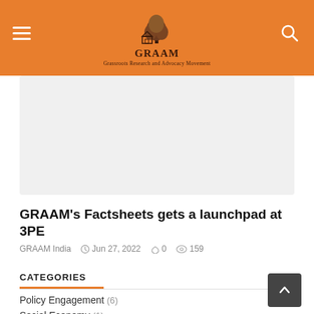GRAAM — Grassroots Research and Advocacy Movement
[Figure (photo): Article featured image placeholder (light gray rectangle)]
GRAAM's Factsheets gets a launchpad at 3PE
GRAAM India  Jun 27, 2022  0  159
CATEGORIES
Policy Engagement (6)
Social Economy (1)